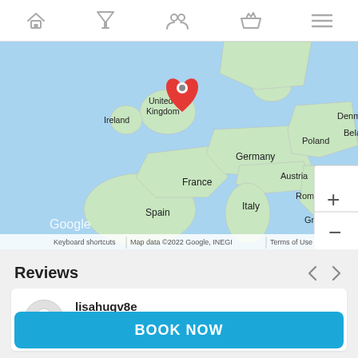Navigation bar with home, cocktail/filter, people, basket, and menu icons
[Figure (map): Google Maps view of Western Europe centered on United Kingdom with a red location pin. Countries visible: Ireland, United Kingdom, Denmark, Belarus, Poland, Germany, France, Austria, Romania, Italy, Spain, Greece, Turkey. Map controls show + and - zoom buttons. Bottom bar shows: Keyboard shortcuts | Map data ©2022 Google, INEGI | Terms of Use]
Reviews
lisahugv8e
September 2022
BOOK NOW